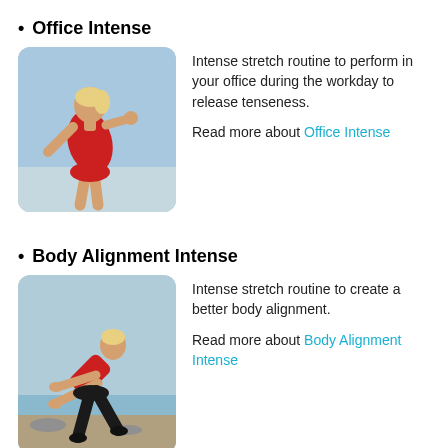Office Intense
[Figure (photo): Woman in red top performing a stretching exercise outdoors, leaning back with arm extended]
Intense stretch routine to perform in your office during the workday to release tenseness.

Read more about Office Intense
Body Alignment Intense
[Figure (photo): Woman in red top and black pants performing a body alignment stretch outdoors near water, leaning forward with arms extended]
Intense stretch routine to create a better body alignment.

Read more about Body Alignment Intense